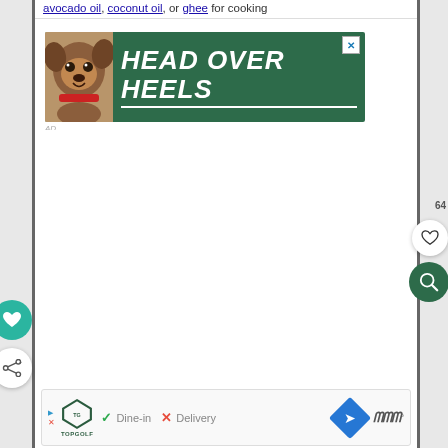avocado oil, coconut oil, or ghee for cooking
[Figure (screenshot): Advertisement banner with a dog (bulldog/french bulldog) on a dark green background with bold white italic text reading HEAD OVER HEELS]
AD
[Figure (screenshot): Bottom bar showing Topgolf logo with Dine-in checkmark and Delivery X mark, navigation arrow button, and Waze-style logo]
[Figure (other): Teal heart button on left side, white share button with share icon on left side, white heart button on right side (showing count 64), dark green search button on right side]